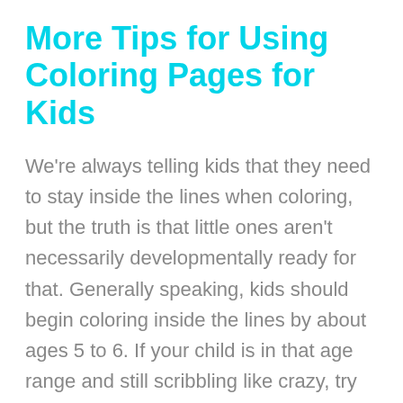More Tips for Using Coloring Pages for Kids
We're always telling kids that they need to stay inside the lines when coloring, but the truth is that little ones aren't necessarily developmentally ready for that. Generally speaking, kids should begin coloring inside the lines by about ages 5 to 6. If your child is in that age range and still scribbling like crazy, try this…
Before having your child color on the page, go around some of the main